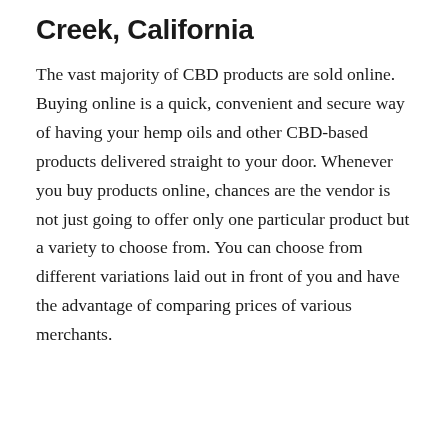Creek, California
The vast majority of CBD products are sold online. Buying online is a quick, convenient and secure way of having your hemp oils and other CBD-based products delivered straight to your door. Whenever you buy products online, chances are the vendor is not just going to offer only one particular product but a variety to choose from. You can choose from different variations laid out in front of you and have the advantage of comparing prices of various merchants.